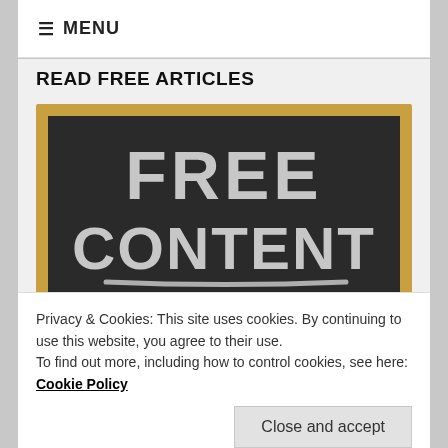≡ MENU
READ FREE ARTICLES
[Figure (illustration): Chalkboard image with chalk-style text reading FREE CONTENT with a chalk underline beneath it, framed in a tan/wood colored border]
Privacy & Cookies: This site uses cookies. By continuing to use this website, you agree to their use.
To find out more, including how to control cookies, see here: Cookie Policy
Close and accept
BUY A SUBSCRIPTION